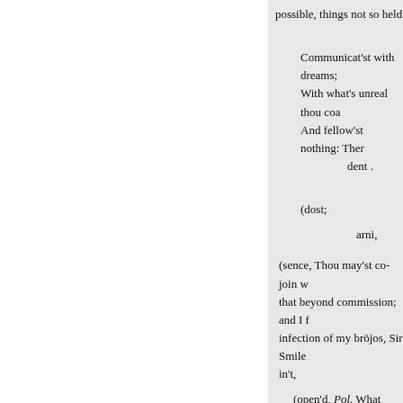possible, things not so held
Communicat'st with dreams;
With what's unreal thou coa
And fellow'st nothing: Ther
dent .
(dost;
arni,
(sence, Thou may'st co-join w
that beyond commission; and I f
infection of my bröjos, Sir Smile
in't,
(open'd, Pol. What means Sili
Whiles other men have gates;
will: Should all despair, Pol. Ho
That have revolted wives, the
themselves. Physic fur't there
Her. You look,
As if you held a brow of mu